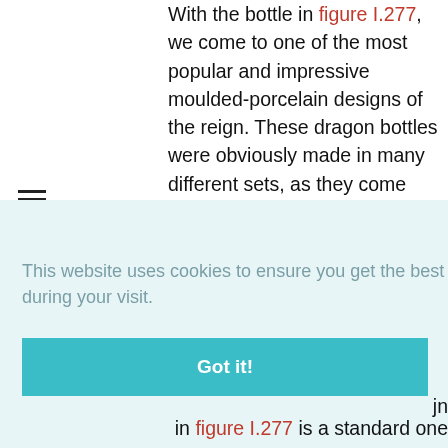[Figure (other): Hamburger menu icon (three horizontal lines) on the left side of the page]
With the bottle in figure I.277, we come to one of the most popular and impressive moulded-porcelain designs of the reign. These dragon bottles were obviously made in many different sets, as they come from various moulds. Each mould could have been used for multiple sets over the years, and when judging whether two bottles come from the same mould, care must be [continued] ...for ...ks ...n ...in figure I.277 is a standard one
This website uses cookies to ensure you get the best experience during your visit.
Got it!